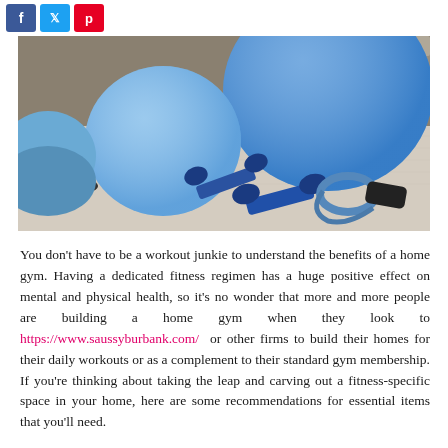[Figure (photo): Fitness equipment including blue exercise/stability balls of various sizes, blue dumbbells, and a resistance band with handles arranged on a carpet floor near a sofa.]
You don't have to be a workout junkie to understand the benefits of a home gym. Having a dedicated fitness regimen has a huge positive effect on mental and physical health, so it's no wonder that more and more people are building a home gym when they look to https://www.saussyburbank.com/ or other firms to build their homes for their daily workouts or as a complement to their standard gym membership. If you're thinking about taking the leap and carving out a fitness-specific space in your home, here are some recommendations for essential items that you'll need.